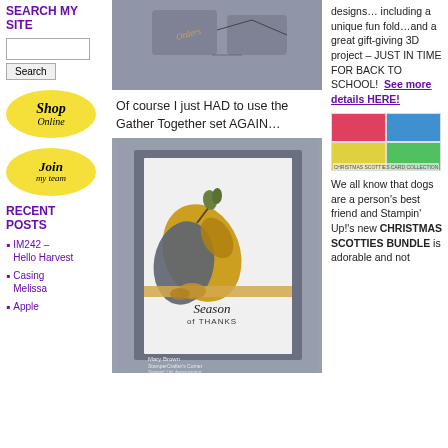SEARCH MY SITE
[Figure (screenshot): Search input box and Search button]
[Figure (logo): Shop Online yellow sunburst logo]
[Figure (logo): Join My Team yellow sunburst logo]
RECENT POSTS
IM242 – Hello Harvest
Casing Melissa
Apple
[Figure (photo): Top photo showing stamped designs on gray/blue background with ink pads]
Of course I just HAD to use the Gather Together set AGAIN…
[Figure (photo): Handmade greeting card with fall leaves (gold, gray, dark teal) on gray background, ribbon and bow, Season of THANKS sentiment, Mary Brown Stamper Crafter's Corner watermark]
designs… including a unique fun fold…and a great gift-giving 3D project – JUST IN TIME FOR BACK TO SCHOOL!
See more details HERE!
[Figure (photo): Christmas Scotties card collection promotional image with colorful grid of cards]
We all know that dogs are a person's best friend and Stampin' Up!'s new CHRISTMAS SCOTTIES BUNDLE is adorable and not